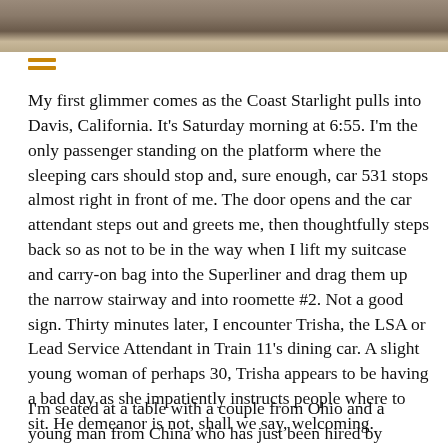[Figure (photo): Photograph of railroad tracks from above, showing wooden sleepers and gravel ballast, cropped at top of page]
My first glimmer comes as the Coast Starlight pulls into Davis, California. It's Saturday morning at 6:55. I'm the only passenger standing on the platform where the sleeping cars should stop and, sure enough, car 531 stops almost right in front of me. The door opens and the car attendant steps out and greets me, then thoughtfully steps back so as not to be in the way when I lift my suitcase and carry-on bag into the Superliner and drag them up the narrow stairway and into roomette #2. Not a good sign. Thirty minutes later, I encounter Trisha, the LSA or Lead Service Attendant in Train 11's dining car. A slight young woman of perhaps 30, Trisha appears to be having a bad day as she impatiently instructs people where to sit. He demeanor is not, shall we say, welcoming.
I'm seated at a table with a couple from Ohio and a young man from China who has just been hired by Facebook. After several